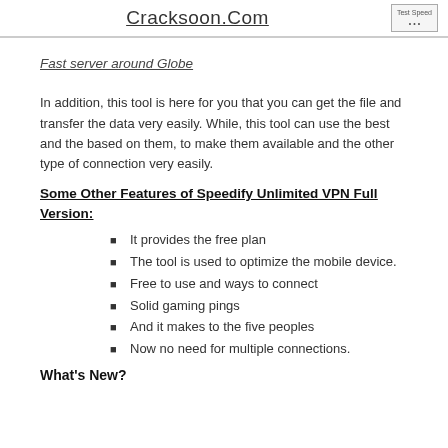Cracksoon.Com
Fast server around Globe
In addition, this tool is here for you that you can get the file and transfer the data very easily. While, this tool can use the best and the based on them, to make them available and the other type of connection very easily.
Some Other Features of Speedify Unlimited VPN Full Version:
It provides the free plan
The tool is used to optimize the mobile device.
Free to use and ways to connect
Solid gaming pings
And it makes to the five peoples
Now no need for multiple connections.
What's New?